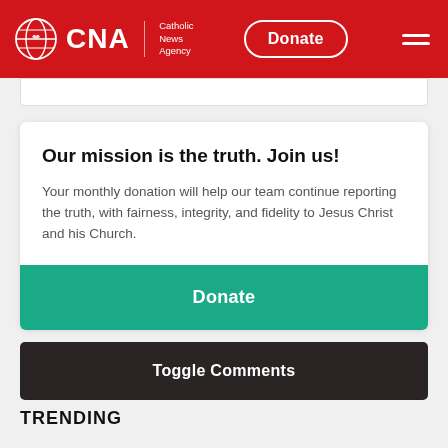CNA | Catholic News Agency — Donate
Our mission is the truth. Join us!
Your monthly donation will help our team continue reporting the truth, with fairness, integrity, and fidelity to Jesus Christ and his Church.
Donate
Toggle Comments
TRENDING